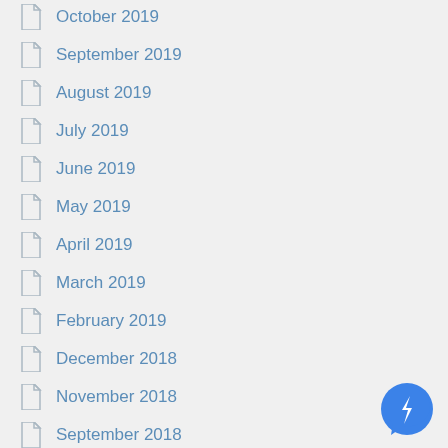October 2019
September 2019
August 2019
July 2019
June 2019
May 2019
April 2019
March 2019
February 2019
December 2018
November 2018
September 2018
August 2018
July 2018
June 2018
[Figure (logo): Blue circular chat bubble icon with a lightning bolt]